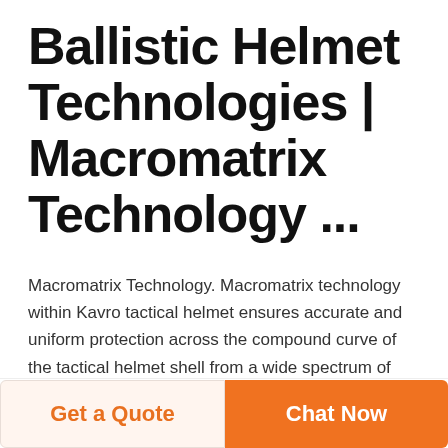Ballistic Helmet Technologies | Macromatrix Technology ...
Macromatrix Technology. Macromatrix technology within Kavro tactical helmet ensures accurate and uniform protection across the compound curve of the tactical helmet shell from a wide spectrum of ballistic threats, very high-velocity fragments, secondary fragmentation, blunt trauma, behind armour blunt trauma and accidents.
[Figure (screenshot): Row of Deekon logo items with a helmet image and a teal button at the bottom of the page]
Get a Quote | Chat Now